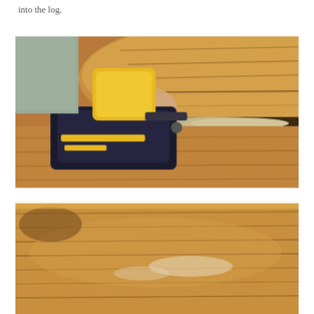into the log.
[Figure (photo): A person using a yellow and black nail gun (staple gun/pneumatic nailer) pressed against a wooden log wall, shooting fasteners into the gap between logs where insulation material is visible.]
[Figure (photo): Close-up view of wooden log wall surface showing wood grain and texture, partially cropped at bottom of page.]